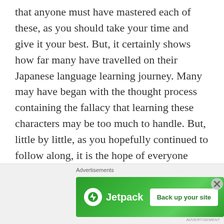that anyone must have mastered each of these, as you should take your time and give it your best. But, it certainly shows how far many have travelled on their Japanese language learning journey. Many may have began with the thought process containing the fallacy that learning these characters may be too much to handle. But, little by little, as you hopefully continued to follow along, it is the hope of everyone here that you will have proven that thought process to be false. And, in that same thought process, it is hoped that this segment
[Figure (other): Jetpack advertisement banner with green background, Jetpack logo on left, and 'Back up your site' button on right. 'Advertisements' label above banner and small ad attribution text below.]